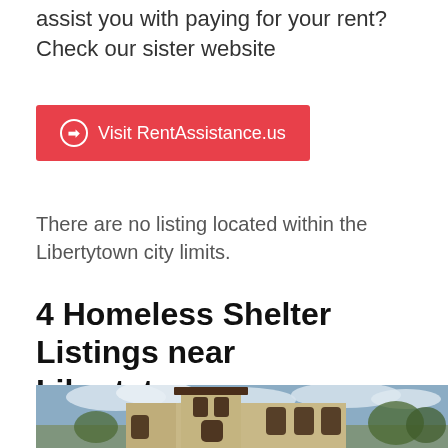assist you with paying for your rent?
Check our sister website
[Figure (infographic): Red button with white text and arrow icon: Visit RentAssistance.us]
There are no listing located within the Libertytown city limits.
4 Homeless Shelter Listings near Libertytown
[Figure (photo): Photograph of a historic stone building with a tall tower, arched windows, and tiled roof overhang against a cloudy sky with trees.]